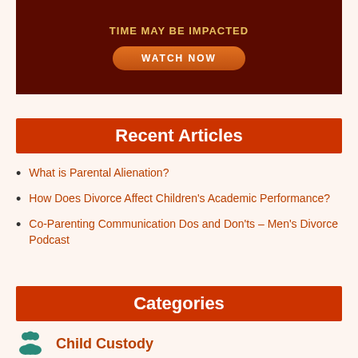[Figure (screenshot): Dark maroon banner with gold text 'TIME MAY BE IMPACTED' and an orange rounded button labeled 'WATCH NOW']
Recent Articles
What is Parental Alienation?
How Does Divorce Affect Children's Academic Performance?
Co-Parenting Communication Dos and Don'ts – Men's Divorce Podcast
Categories
Child Custody